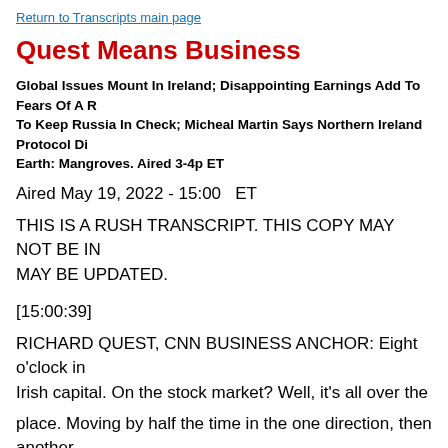Return to Transcripts main page
Quest Means Business
Global Issues Mount In Ireland; Disappointing Earnings Add To Fears Of A R... To Keep Russia In Check; Micheal Martin Says Northern Ireland Protocol Di... Earth: Mangroves. Aired 3-4p ET
Aired May 19, 2022 - 15:00   ET
THIS IS A RUSH TRANSCRIPT. THIS COPY MAY NOT BE IN ITS FINAL FORM AND MAY BE UPDATED.
[15:00:39]
RICHARD QUEST, CNN BUSINESS ANCHOR: Eight o'clock in the Irish capital. On the stock market? Well, it's all over the
place. Moving by half the time in the one direction, then another...